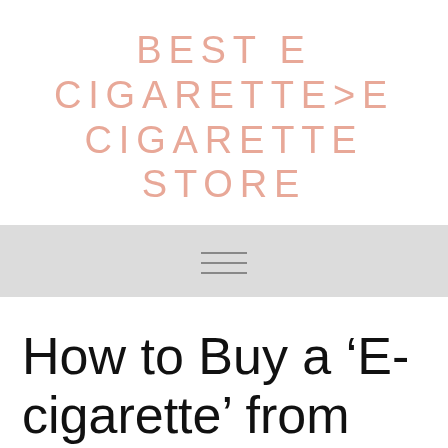BEST E CIGARETTE>E CIGARETTE STORE
[Figure (other): Hamburger menu navigation bar icon with three horizontal lines on a light gray background]
How to Buy a ‘E-cigarette’ from India